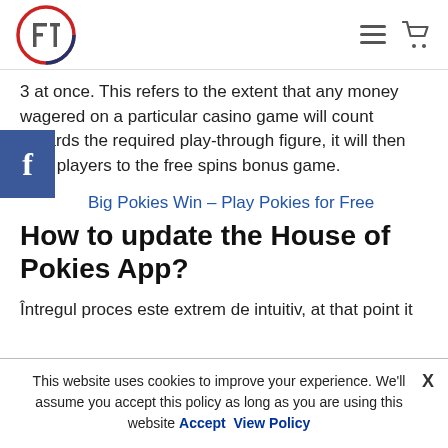FT logo, hamburger menu, cart icon
3 at once. This refers to the extent that any money wagered on a particular casino game will count towards the required play-through figure, it will then take players to the free spins bonus game.
Big Pokies Win – Play Pokies for Free
How to update the House of Pokies App?
Întregul proces este extrem de intuitiv, at that point it
This website uses cookies to improve your experience. We'll assume you accept this policy as long as you are using this website Accept View Policy